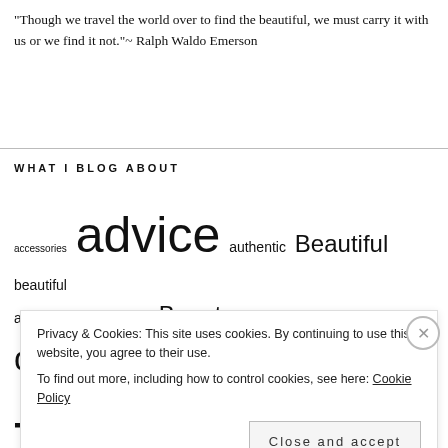"Though we travel the world over to find the beautiful, we must carry it with us or we find it not."~ Ralph Waldo Emerson
WHAT I BLOG ABOUT
accessories advice authentic Beautiful beautiful authentic determined Beauty confidence dating determined fashion getting what you want How to be a BAD Girl how to be a BAD girl
Privacy & Cookies: This site uses cookies. By continuing to use this website, you agree to their use. To find out more, including how to control cookies, see here: Cookie Policy
Close and accept